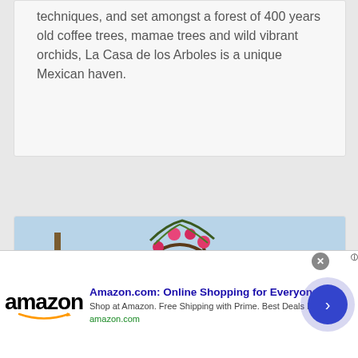techniques, and set amongst a forest of 400 years old coffee trees, mamae trees and wild vibrant orchids, La Casa de los Arboles is a unique Mexican haven.
[Figure (photo): Outdoor beach wedding setup with white chairs decorated with pink/fuchsia sashes and flowers, arranged in rows facing a decorative arch made of branches and pink flowers, with green lawn and ocean in the background.]
Amazon.com: Online Shopping for Everyone
Shop at Amazon. Free Shipping with Prime. Best Deals Ever!
amazon.com